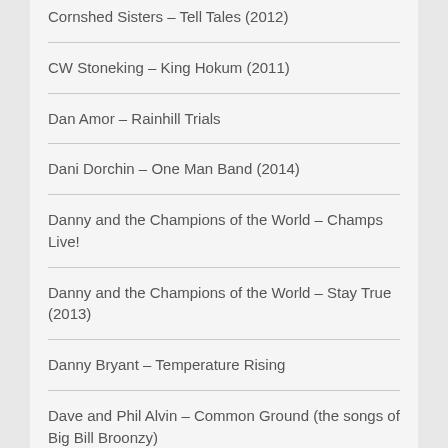Cornshed Sisters – Tell Tales (2012)
CW Stoneking – King Hokum (2011)
Dan Amor – Rainhill Trials
Dani Dorchin – One Man Band (2014)
Danny and the Champions of the World – Champs Live!
Danny and the Champions of the World – Stay True (2013)
Danny Bryant – Temperature Rising
Dave and Phil Alvin – Common Ground (the songs of Big Bill Broonzy)
Dave Arcari & the Helsinki Hellraisers – Whisky in my Blood